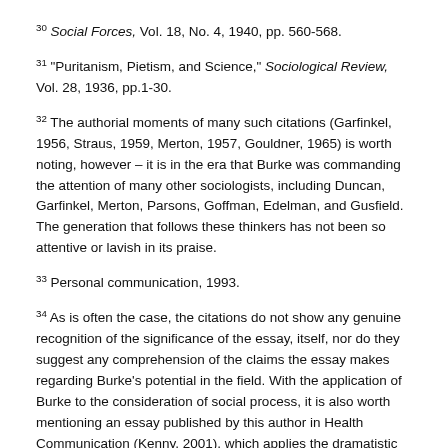30 Social Forces, Vol. 18, No. 4, 1940, pp. 560-568.
31 "Puritanism, Pietism, and Science," Sociological Review, Vol. 28, 1936, pp.1-30.
32 The authorial moments of many such citations (Garfinkel, 1956, Straus, 1959, Merton, 1957, Gouldner, 1965) is worth noting, however – it is in the era that Burke was commanding the attention of many other sociologists, including Duncan, Garfinkel, Merton, Parsons, Goffman, Edelman, and Gusfield. The generation that follows these thinkers has not been so attentive or lavish in its praise.
33 Personal communication, 1993.
34 As is often the case, the citations do not show any genuine recognition of the significance of the essay, itself, nor do they suggest any comprehension of the claims the essay makes regarding Burke's potential in the field. With the application of Burke to the consideration of social process, it is also worth mentioning an essay published by this author in Health Communication (Kenny, 2001), which applies the dramatistic paradigm to characterize death rituals as "rites of passage" that are essentially symbolic and social